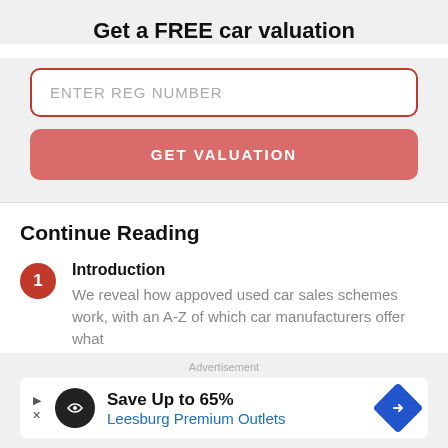Get a FREE car valuation
ENTER REG NUMBER
GET VALUATION
Continue Reading
Introduction
We reveal how appoved used car sales schemes work, with an A-Z of which car manufacturers offer what
Advertisement
Save Up to 65%
Leesburg Premium Outlets